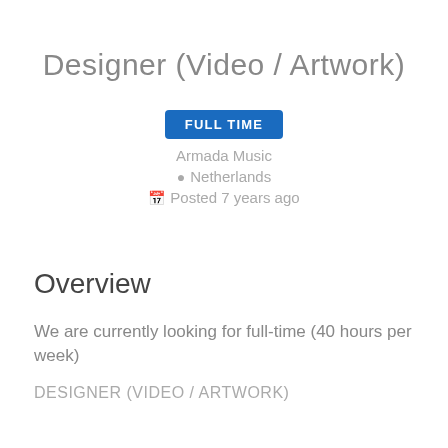Designer (Video / Artwork)
FULL TIME
Armada Music
Netherlands
Posted 7 years ago
Overview
We are currently looking for full-time (40 hours per week)
DESIGNER (VIDEO / ARTWORK)